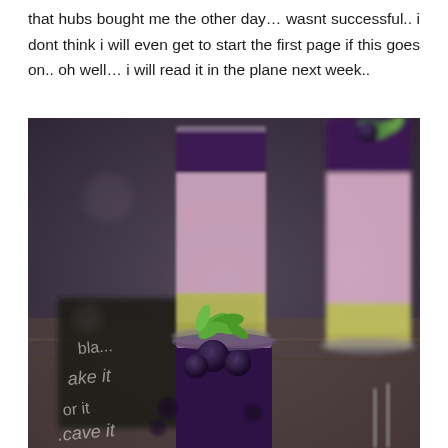that hubs bought me the other day... wasnt successful.. i dont think i will even get to start the first page if this goes on.. oh well... i will read it in the plane next week..
[Figure (photo): Overhead photo of layered dessert shots in small glasses with blueberries and mint leaves on top, showing pink/lavender, yellow, and dark purple layers. A chalkboard sign with text is visible in the background.]